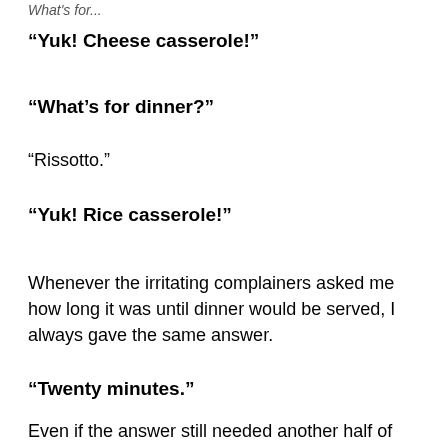What's for...
“Yuk! Cheese casserole!”
“What’s for dinner?”
“Rissotto.”
“Yuk! Rice casserole!”
Whenever the irritating complainers asked me how long it was until dinner would be served, I always gave the same answer.
“Twenty minutes.”
Even if the answer still needed another half of cooking...